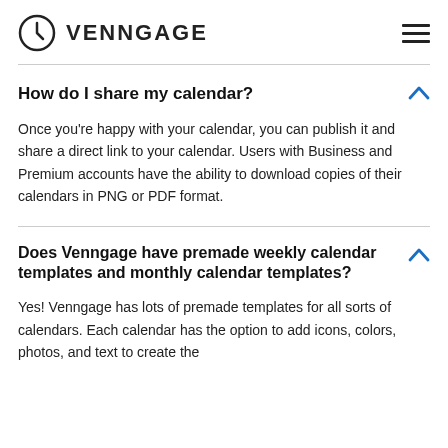VENNGAGE
How do I share my calendar?
Once you're happy with your calendar, you can publish it and share a direct link to your calendar. Users with Business and Premium accounts have the ability to download copies of their calendars in PNG or PDF format.
Does Venngage have premade weekly calendar templates and monthly calendar templates?
Yes! Venngage has lots of premade templates for all sorts of calendars. Each calendar has the option to add icons, colors, photos, and text to create the